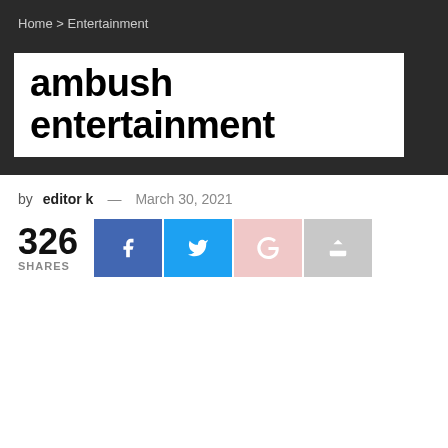Home > Entertainment
ambush entertainment
by editor k — March 30, 2021
326 SHARES